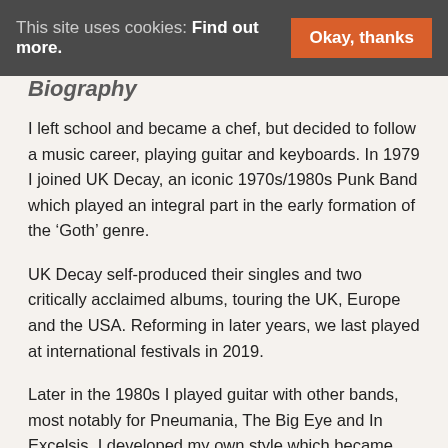This site uses cookies: Find out more. Okay, thanks
Biography
I left school and became a chef, but decided to follow a music career, playing guitar and keyboards. In 1979 I joined UK Decay, an iconic 1970s/1980s Punk Band which played an integral part in the early formation of the ‘Goth’ genre.
UK Decay self-produced their singles and two critically acclaimed albums, touring the UK, Europe and the USA. Reforming in later years, we last played at international festivals in 2019.
Later in the 1980s I played guitar with other bands, most notably for Pneumania, The Big Eye and In Excelsis. I developed my own style which became renowned for its raucous and temporal sound as I utilised various FX pedals to create my unique expression in this medium.
In the 1990s I became a music producer working on my own material and for many clients. I was based in a community recording studio